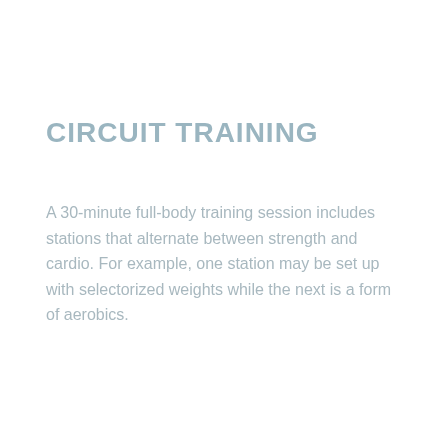CIRCUIT TRAINING
A 30-minute full-body training session includes stations that alternate between strength and cardio. For example, one station may be set up with selectorized weights while the next is a form of aerobics.